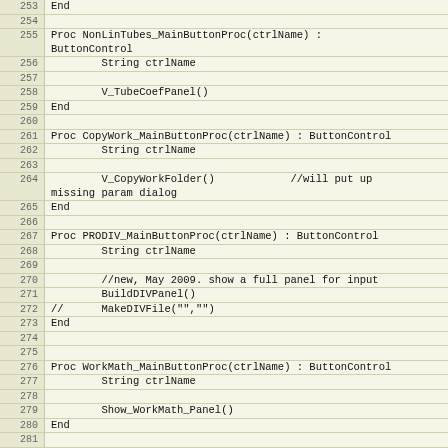Source code listing, lines 253-283, showing ButtonControl procedure definitions in a scripting/macro language.